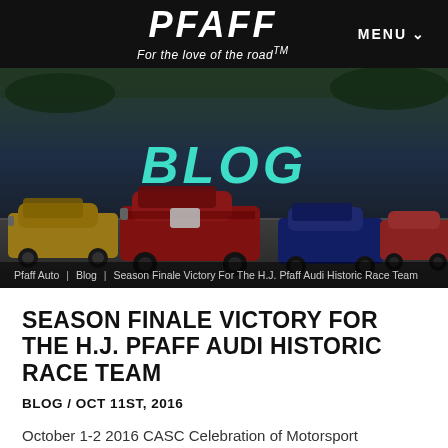PFAFF — For the love of the road™  MENU
[Figure (photo): Hero image showing multiple racing cars on a track including a yellow car, red Audi, blue Honda, and red car. Overlay shows 'BLOG' text in teal/cyan color.]
Pfaff Auto | Blog | Season Finale Victory For The H.J. Pfaff Audi Historic Race Team
SEASON FINALE VICTORY FOR THE H.J. PFAFF AUDI HISTORIC RACE TEAM
BLOG / OCT 11ST, 2016
October 1-2 2016 CASC Celebration of Motorsport
This past October 1st weekend at Canadian Tire